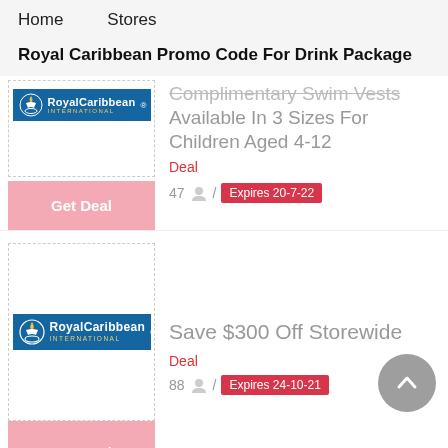Home   Stores
Royal Caribbean Promo Code For Drink Package
Complimentary Swim Vests Available In 3 Sizes For Children Aged 4-12
Deal
47  /  Expires 20-7-22
Get Deal
[Figure (logo): Royal Caribbean International logo]
Save $300 Off Storewide
Deal
Get Deal
[Figure (logo): Royal Caribbean International logo]
88  /  Expires 24-10-21